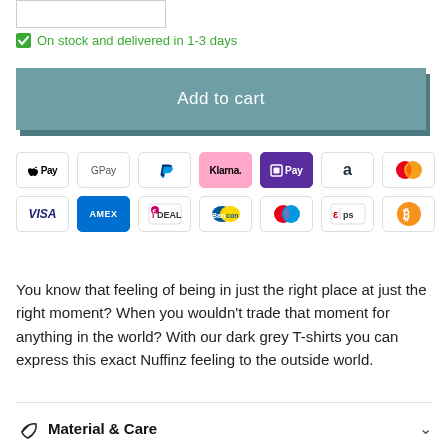✔ On stock and delivered in 1-3 days
Add to cart
[Figure (infographic): Payment method icons: Apple Pay, Google Pay, PayPal, Klarna, OPay, Amazon Pay, Mastercard, Visa, AMEX, iDEAL, Bancontact, Maestro, eps, Bitcoin]
You know that feeling of being in just the right place at just the right moment? When you wouldn't trade that moment for anything in the world? With our dark grey T-shirts you can express this exact Nuffinz feeling to the outside world.
Material & Care